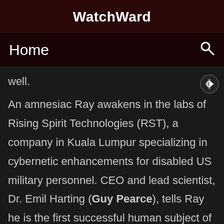WatchWard
Home
well.
An amnesiac Ray awakens in the labs of Rising Spirit Technologies (RST), a company in Kuala Lumpur specializing in cybernetic enhancements for disabled US military personnel. CEO and lead scientist, Dr. Emil Harting (Guy Pearce), tells Ray he is the first successful human subject of the "Bloodshot" program, resurrecting and healing him through